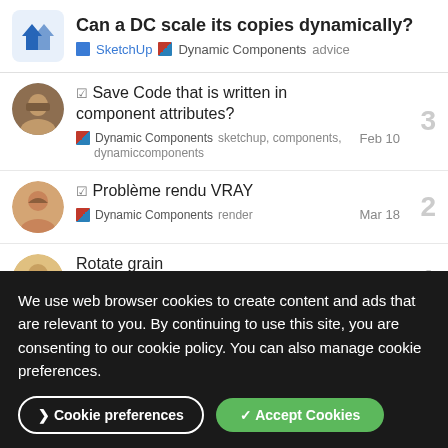Can a DC scale its copies dynamically? — SketchUp | Dynamic Components | advice
☑ Save Code that is written in component attributes? — Dynamic Components — sketchup, components, dynamiccomponents — Feb 10 — 3 replies
☑ Problème rendu VRAY — Dynamic Components — render — Mar 18 — 2 replies
Rotate grain — Dynamic Components — May 7 — 1 reply
We use web browser cookies to create content and ads that are relevant to you. By continuing to use this site, you are consenting to our cookie policy. You can also manage cookie preferences.